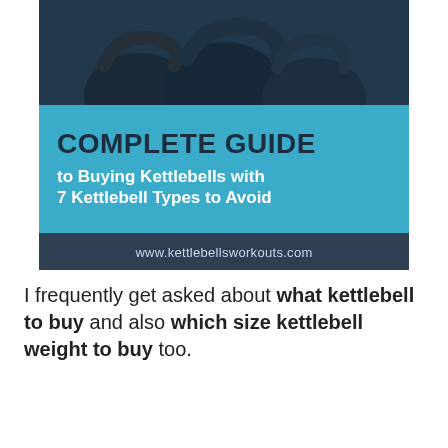[Figure (illustration): Book cover image showing kettlebells in the background with a cyan banner reading 'COMPLETE GUIDE to Buying Kettlebells with 7 Kettlebell Types to Avoid' and a dark footer with website www.kettlebellsworkouts.com]
I frequently get asked about what kettlebell to buy and also which size kettlebell weight to buy too.